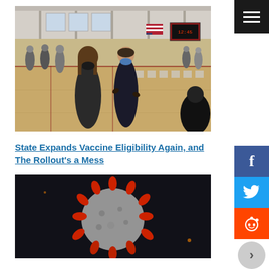[Figure (photo): Two people wearing face masks standing in a gymnasium set up as a COVID-19 vaccination site, with chairs and other people visible in the background.]
State Expands Vaccine Eligibility Again, and The Rollout's a Mess
[Figure (photo): Close-up image of a red and grey coronavirus particle on a dark background.]